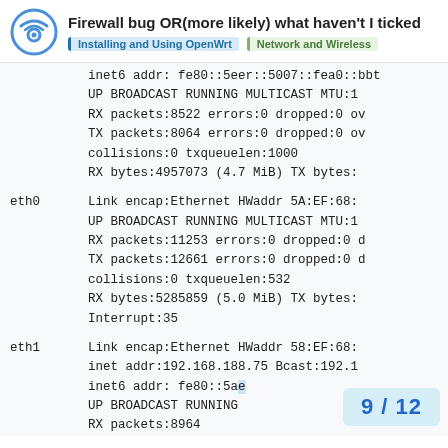Firewall bug OR(more likely) what haven't I ticked | Installing and Using OpenWrt | Network and Wireless
inet6 addr: fe80::5eer::5007::fea0::bbt
      UP BROADCAST RUNNING MULTICAST  MTU:1
      RX packets:8522 errors:0 dropped:0 ov
      TX packets:8064 errors:0 dropped:0 ov
      collisions:0 txqueuelen:1000
      RX bytes:4957073 (4.7 MiB)  TX bytes:

eth0      Link encap:Ethernet  HWaddr 5A:EF:68:
      UP BROADCAST RUNNING MULTICAST  MTU:1
      RX packets:11253 errors:0 dropped:0 d
      TX packets:12661 errors:0 dropped:0 d
      collisions:0 txqueuelen:532
      RX bytes:5285859 (5.0 MiB)  TX bytes:
      Interrupt:35

eth1      Link encap:Ethernet  HWaddr 58:EF:68:
      inet addr:192.168.188.75  Bcast:192.1
      inet6 addr: fe80::5ae
      UP BROADCAST RUNNING
      RX packets:8964